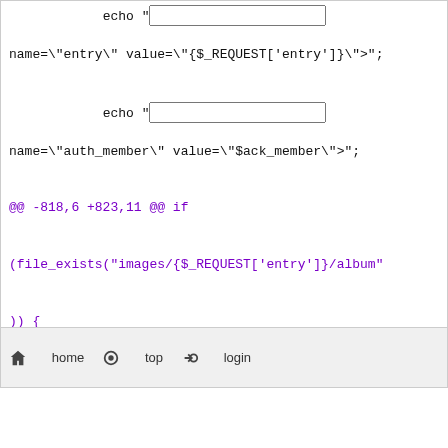Code diff showing PHP file changes with echo statements, foreach loop, session check, and form elements
home | top | login | 37,086 views | 2,773 rss | 2,551 map | 1 cookie